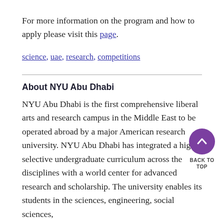For more information on the program and how to apply please visit this page.
science, uae, research, competitions
About NYU Abu Dhabi
NYU Abu Dhabi is the first comprehensive liberal arts and research campus in the Middle East to be operated abroad by a major American research university. NYU Abu Dhabi has integrated a highly selective undergraduate curriculum across the disciplines with a world center for advanced research and scholarship. The university enables its students in the sciences, engineering, social sciences,